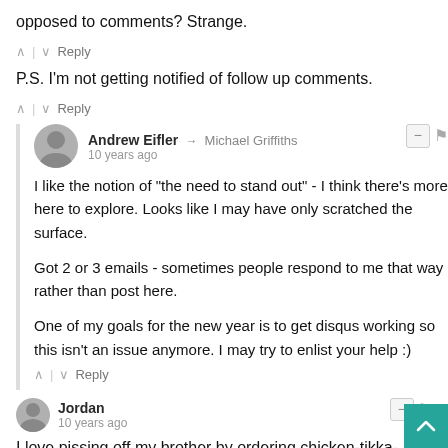opposed to comments? Strange.
P.S. I'm not getting notified of follow up comments.
Andrew Eifler → Michael Griffiths
10 years ago
I like the notion of "the need to stand out" - I think there's more here to explore. Looks like I may have only scratched the surface.

Got 2 or 3 emails - sometimes people respond to me that way rather than post here.

One of my goals for the new year is to get disqus working so this isn't an issue anymore. I may try to enlist your help :)
Jordan
10 years ago
I love pissing off my brother by ordering chicken-tikka-masala at an Indian restaurant right after he does. It encroaches his...